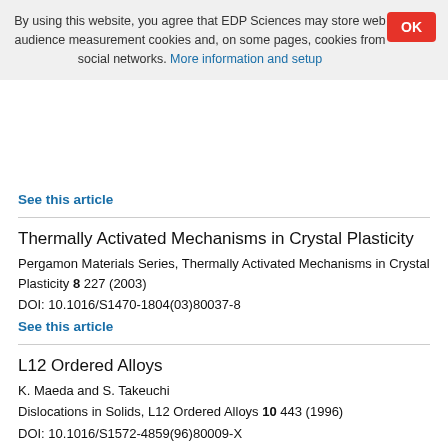By using this website, you agree that EDP Sciences may store web audience measurement cookies and, on some pages, cookies from social networks. More information and setup
See this article
Thermally Activated Mechanisms in Crystal Plasticity
Pergamon Materials Series, Thermally Activated Mechanisms in Crystal Plasticity 8 227 (2003)
DOI: 10.1016/S1470-1804(03)80037-8
See this article
L12 Ordered Alloys
K. Maeda and S. Takeuchi
Dislocations in Solids, L12 Ordered Alloys 10 443 (1996)
DOI: 10.1016/S1572-4859(96)80009-X
See this article